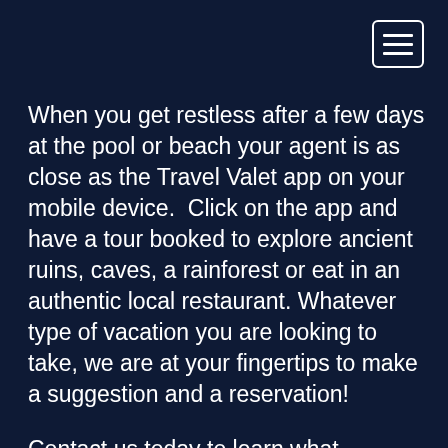[Figure (other): Hamburger menu button icon in top-right corner, white bordered rectangle with three horizontal lines]
When you get restless after a few days at the pool or beach your agent is as close as the Travel Valet app on your mobile device.  Click on the app and have a tour booked to explore ancient ruins, caves, a rainforest or eat in an authentic local restaurant. Whatever type of vacation you are looking to take, we are at your fingertips to make a suggestion and a reservation!
Contact us today to learn what destination and property is right for you. In addition we are to assist with local passport/visa requirements and visitor fees that may be